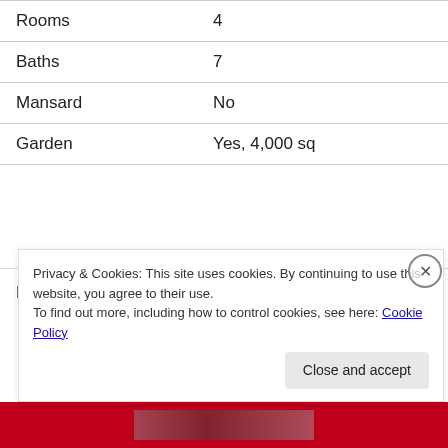| Field | Value |
| --- | --- |
| Rooms | 4 |
| Baths | 7 |
| Mansard | No |
| Garden | Yes, 4,000 sq |
Euros 4,35 Million    AED 21,540,000.00
Privacy & Cookies: This site uses cookies. By continuing to use this website, you agree to their use.
To find out more, including how to control cookies, see here: Cookie Policy
Close and accept